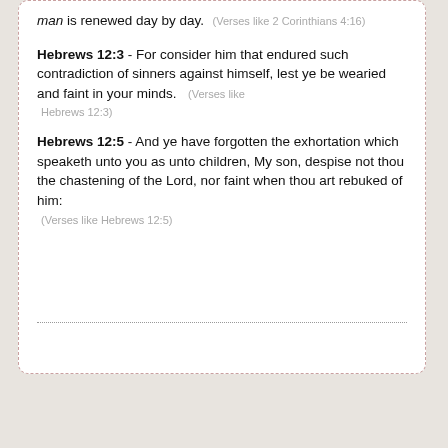man is renewed day by day. (Verses like 2 Corinthians 4:16)
Hebrews 12:3 - For consider him that endured such contradiction of sinners against himself, lest ye be wearied and faint in your minds. (Verses like Hebrews 12:3)
Hebrews 12:5 - And ye have forgotten the exhortation which speaketh unto you as unto children, My son, despise not thou the chastening of the Lord, nor faint when thou art rebuked of him: (Verses like Hebrews 12:5)